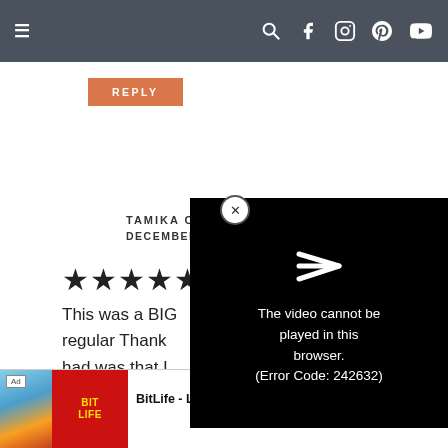Navigation bar with hamburger menu and social icons (search, facebook, instagram, pinterest, youtube)
REPLY
TAMIKA O. SAYS
DECEMBER 1, 2017 AT 8:36 AM
[Figure (other): Five black star rating symbols]
This was a BIG regular Thank had was that I
[Figure (screenshot): Video player error overlay showing arrow/play icon and error message: The video cannot be played in this browser. (Error Code: 242632)]
[Figure (other): Ad banner for BitLife - Life Simulator with Install button]